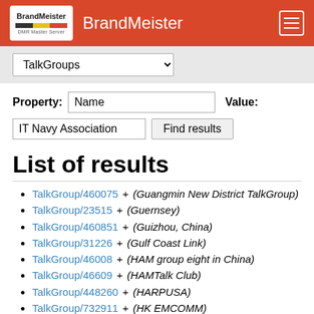BrandMeister
TalkGroups (dropdown)
Property: Name   Value:
IT Navy Association   Find results
List of results
TalkGroup/460075  +  (Guangmin New District TalkGroup)
TalkGroup/23515  +  (Guernsey)
TalkGroup/460851  +  (Guizhou, China)
TalkGroup/31226  +  (Gulf Coast Link)
TalkGroup/46008  +  (HAM group eight in China)
TalkGroup/46609  +  (HAMTalk Club)
TalkGroup/448260  +  (HARPUSA)
TalkGroup/732911  +  (HK EMCOMM)
TalkGroup/31014  +  (HSV)
TalkGroup/43858100  +  (HT SIDA FDT)